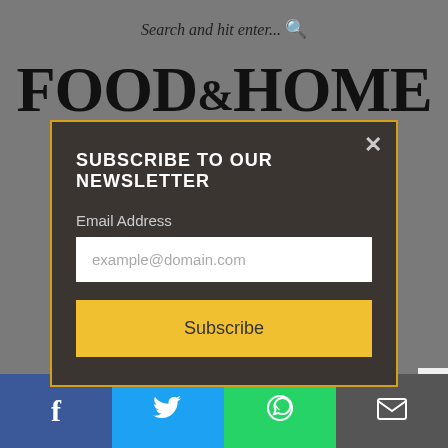[Figure (screenshot): Food & Home website screenshot with newsletter subscription modal overlay]
Search and hit enter...
FOOD&HOME
SUBSCRIBE TO OUR NEWSLETTER
Email Address
example@domain.com
Subscribe
Home » Recipes » Fettuccine stroganoff